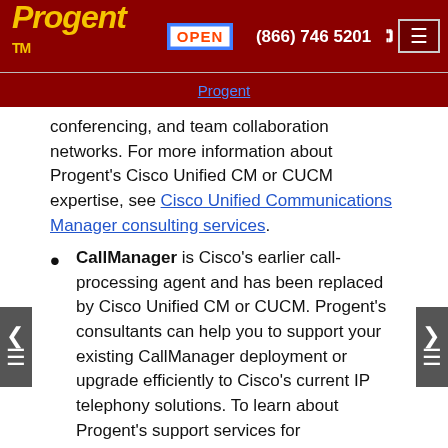Progent TM | OPEN | (866) 746 5201 | [menu]
Progent (navigation link)
conferencing, and team collaboration networks. For more information about Progent's Cisco Unified CM or CUCM expertise, see Cisco Unified Communications Manager consulting services.
CallManager is Cisco's earlier call-processing agent and has been replaced by Cisco Unified CM or CUCM. Progent's consultants can help you to support your existing CallManager deployment or upgrade efficiently to Cisco's current IP telephony solutions. To learn about Progent's support services for CallManager and Cisco's other legacy VoIP platforms, refer to Cisco CallManager consulting services.
Cisco IP Gateways enable connectivity with public telephony networks and with users